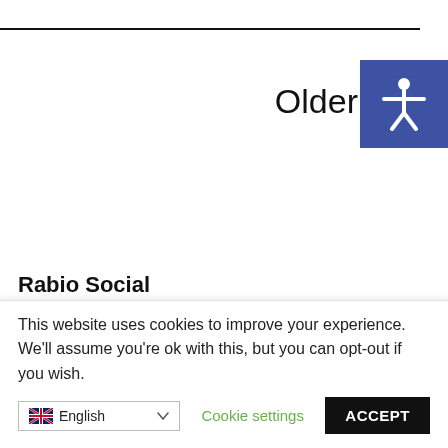Older
[Figure (illustration): Blue accessibility icon button showing a person with arms outstretched]
Rabio Social
Follow Rabio Social to and...
This website uses cookies to improve your experience. We'll assume you're ok with this, but you can opt-out if you wish.
Cookie settings
ACCEPT
English